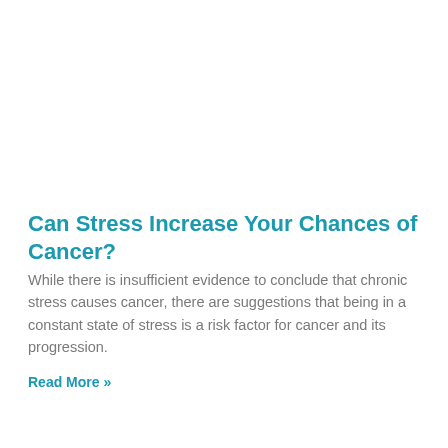Can Stress Increase Your Chances of Cancer?
While there is insufficient evidence to conclude that chronic stress causes cancer, there are suggestions that being in a constant state of stress is a risk factor for cancer and its progression.
Read More »